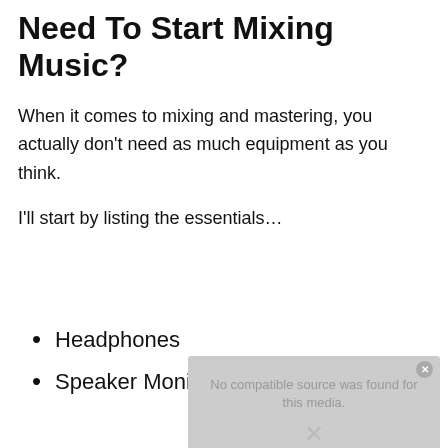Need To Start Mixing Music?
When it comes to mixing and mastering, you actually don't need as much equipment as you think.
I'll start by listing the essentials…
Headphones
Speaker Monitors
[Figure (screenshot): A video player overlay showing 'No compatible source was found for this media.' error message with a close button and an X icon.]